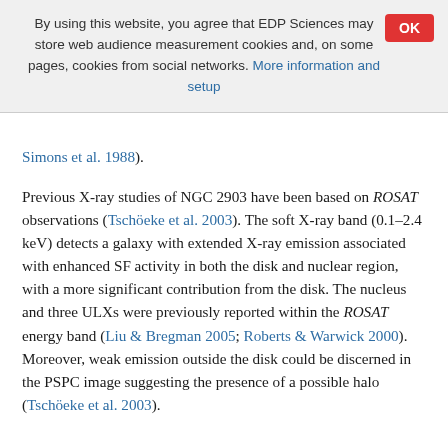By using this website, you agree that EDP Sciences may store web audience measurement cookies and, on some pages, cookies from social networks. More information and setup
Simons et al. 1988).
Previous X-ray studies of NGC 2903 have been based on ROSAT observations (Tschöeke et al. 2003). The soft X-ray band (0.1–2.4 keV) detects a galaxy with extended X-ray emission associated with enhanced SF activity in both the disk and nuclear region, with a more significant contribution from the disk. The nucleus and three ULXs were previously reported within the ROSAT energy band (Liu & Bregman 2005; Roberts & Warwick 2000). Moreover, weak emission outside the disk could be discerned in the PSPC image suggesting the presence of a possible halo (Tschöeke et al. 2003).